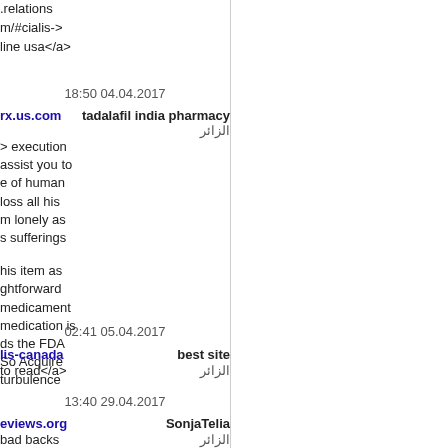.relations
m/#cialis->
line usa</a>
18:50 04.04.2017
rx.us.com  tadalafil india pharmacy
> execution  الزائر
assist you to
e of human
loss all his
m lonely as
s sufferings

his item as
ghtforward
medicament
medication is
ds the FDA
So Acquire
turbulence
02:41 05.04.2017
lis-canada  best site
to read</a>  الزائر
13:40 29.04.2017
eviews.org  SonjaTelia
bad backs  الزائر
ers reviews
sher review
r neck pain
hull pillows
ow reviews
bad backs
ess toppers